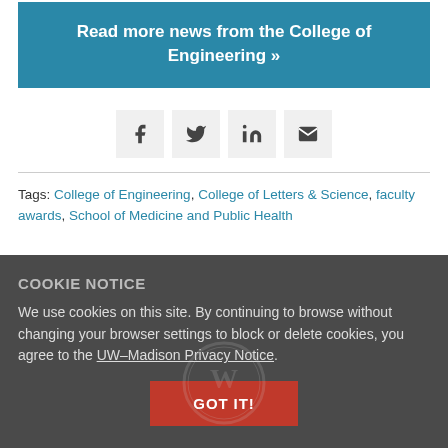Read more news from the College of Engineering »
[Figure (other): Social share icons: Facebook, Twitter, LinkedIn, Email]
Tags: College of Engineering, College of Letters & Science, faculty awards, School of Medicine and Public Health
COOKIE NOTICE
We use cookies on this site. By continuing to browse without changing your browser settings to block or delete cookies, you agree to the UW–Madison Privacy Notice.
GOT IT!